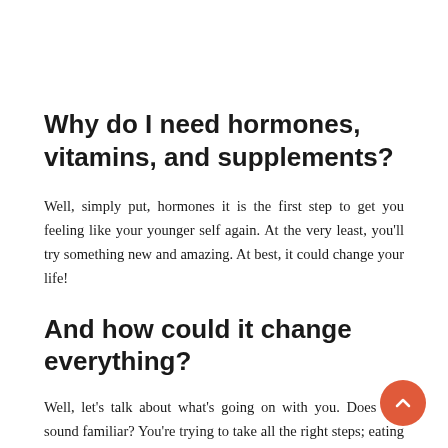Why do I need hormones, vitamins, and supplements?
Well, simply put, hormones it is the first step to get you feeling like your younger self again. At the very least, you'll try something new and amazing. At best, it could change your life!
And how could it change everything?
Well, let's talk about what's going on with you. Does this sound familiar? You're trying to take all the right steps; eating 'healthy' foods and being as consistent as possible with your exercise routine, but are still